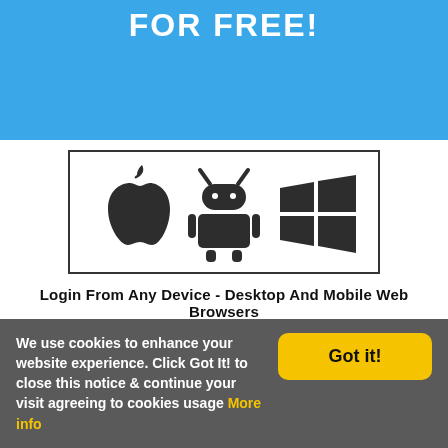FOR FREE!
[Figure (illustration): Three mobile/desktop OS icons in a bordered box: Apple logo, Android robot, and Windows flag logo]
Login From Any Device - Desktop And Mobile Web Browsers
We use cookies to enhance your website experience. Click Got It! to close this notice & continue your visit agreeing to cookies usage More info